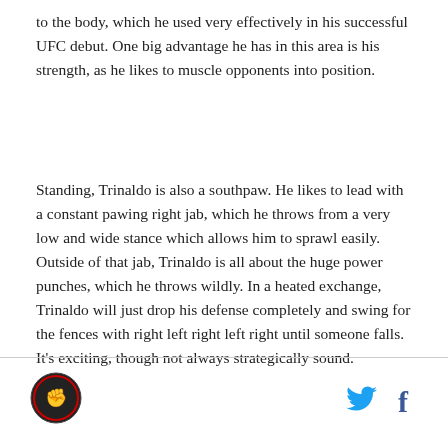to the body, which he used very effectively in his successful UFC debut. One big advantage he has in this area is his strength, as he likes to muscle opponents into position.
Standing, Trinaldo is also a southpaw. He likes to lead with a constant pawing right jab, which he throws from a very low and wide stance which allows him to sprawl easily. Outside of that jab, Trinaldo is all about the huge power punches, which he throws wildly. In a heated exchange, Trinaldo will just drop his defense completely and swing for the fences with right left right left right until someone falls. It's exciting, though not always strategically sound.
[logo] [twitter] [facebook]